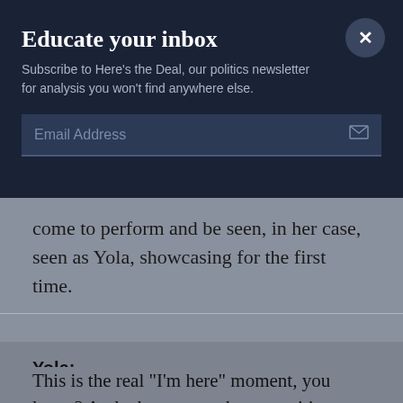Educate your inbox
Subscribe to Here's the Deal, our politics newsletter for analysis you won't find anywhere else.
Email Address
come to perform and be seen, in her case, seen as Yola, showcasing for the first time.
Yola:
This is the real "I'm here" moment, you know? And when you make a transition from being in service to someone else's dream to daring to ask people to come and